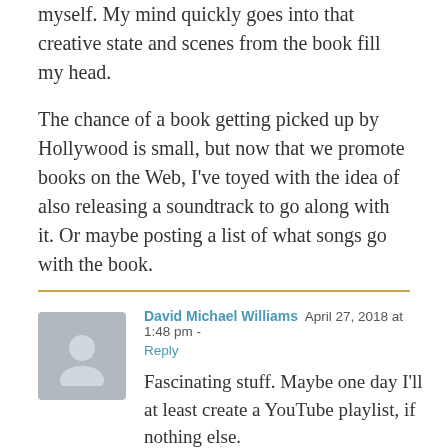myself. My mind quickly goes into that creative state and scenes from the book fill my head.

The chance of a book getting picked up by Hollywood is small, but now that we promote books on the Web, I've toyed with the idea of also releasing a soundtrack to go along with it. Or maybe posting a list of what songs go with the book.
David Michael Williams   April 27, 2018 at 1:48 pm -
Reply
Fascinating stuff. Maybe one day I'll at least create a YouTube playlist, if nothing else.